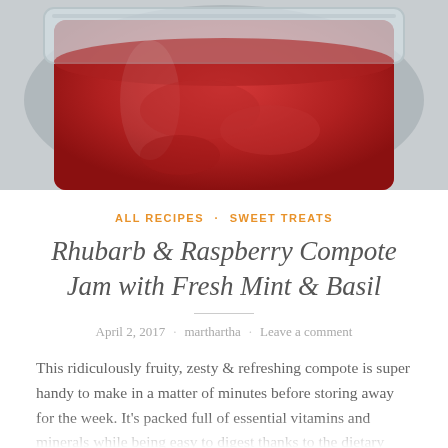[Figure (photo): Top-down photo of a clear plastic container filled with red rhubarb and raspberry compote jam, partially cropped at top]
ALL RECIPES · SWEET TREATS
Rhubarb & Raspberry Compote Jam with Fresh Mint & Basil
April 2, 2017 · marthartha · Leave a comment
This ridiculously fruity, zesty & refreshing compote is super handy to make in a matter of minutes before storing away for the week. It's packed full of essential vitamins and minerals while being easy to digest thanks to the dietary fibre content in the raspberries and the soothing properties of the mint leaves. If you're gonna